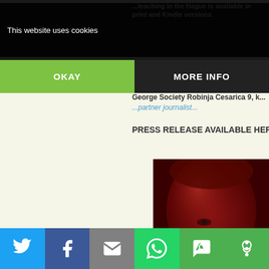...teaching in the Hague is available in print and Kindle versions.
George Society Robinja Cesarica 9, ...
...partner journalist...
PRESS RELEASE AVAILABLE HERE (PDF)
[Figure (photo): Close-up portrait photo of a person illuminated in red light]
Share buttons: Twitter, Facebook, Email, WhatsApp, SMS, More